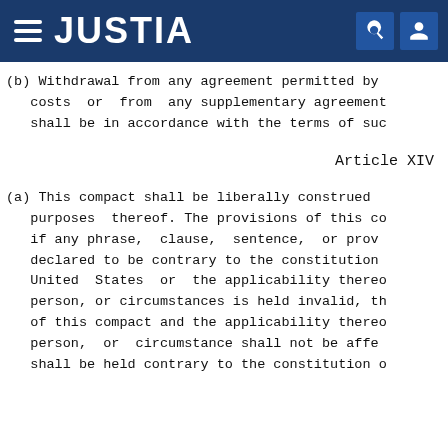JUSTIA
(b) Withdrawal from any agreement permitted by costs or from any supplementary agreement shall be in accordance with the terms of suc
Article XIV
(a) This compact shall be liberally construed purposes thereof. The provisions of this co if any phrase, clause, sentence, or prov declared to be contrary to the constitution United States or the applicability thereo person, or circumstances is held invalid, th of this compact and the applicability thereo person, or circumstance shall not be affe shall be held contrary to the constitution o